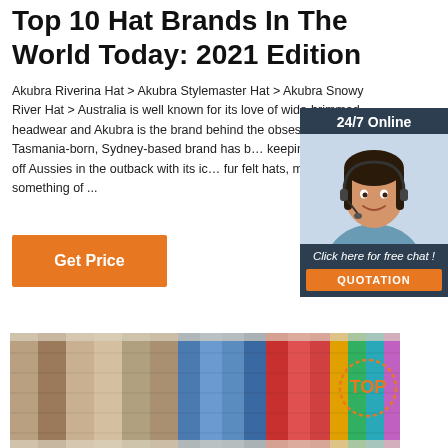Top 10 Hat Brands In The World Today: 2021 Edition
Akubra Riverina Hat > Akubra Stylemaster Hat > Akubra Snowy River Hat > Australia is well known for its love of wide-brimmed headwear and Akubra is the brand behind the obses… 1876 the Tasmania-born, Sydney-based brand has b… keeping the sun off Aussies in the outback with its ic… fur felt hats, making itself something of ...
[Figure (other): Orange 'Get Price' button]
[Figure (other): 24/7 Online chat widget with photo of woman wearing headset and 'Click here for free chat!' text and QUOTATION button]
[Figure (photo): Rows of colorful fabric swatches in various colors including beige, brown, blue, red, green, and multicolor stripes with a TOP badge overlay]